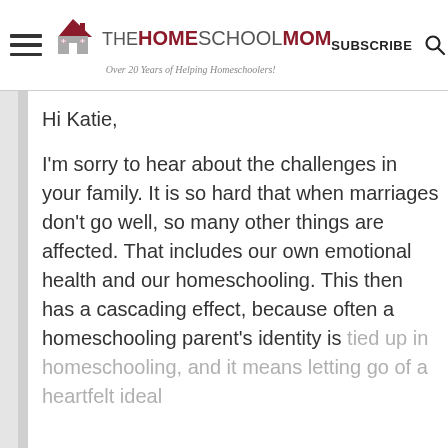[Figure (logo): The HomeSchoolMom logo with house icon, text 'THE HOMESCHOOLMOM' and tagline 'Over 20 Years of Helping Homeschoolers!']
SUBSCRIBE (search icon)
Hi Katie,

I'm sorry to hear about the challenges in your family. It is so hard that when marriages don't go well, so many other things are affected. That includes our own emotional health and our homeschooling. This then has a cascading effect, because often a homeschooling parent's identity is tied up in homeschooling, and it means letting go of a heartfelt ideal